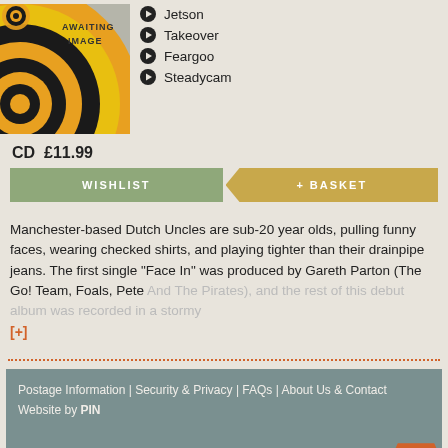[Figure (illustration): Album cover with concentric circles in orange, yellow, black on grey background with text 'AWAITING IMAGE']
Jetson
Takeover
Feargoo
Steadycam
CD  £11.99
WISHLIST
+ BASKET
Manchester-based Dutch Uncles are sub-20 year olds, pulling funny faces, wearing checked shirts, and playing tighter than their drainpipe jeans. The first single "Face In" was produced by Gareth Parton (The Go! Team, Foals, Pete And The Pirates), and the rest of this debut album was recorded in a stormy
[+]
Postage Information | Security & Privacy | FAQs | About Us & Contact
Website by PIN